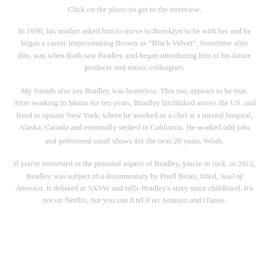Click on the photo to get to the interview.
In 1996, his mother asked him to move to Brooklyn to be with her and he began a career impersonating Brown as "Black Velvet". Sometime after this, was when Roth saw Bradley and began introducing him to his future producer and music colleagues.
My friends also say Bradley was homeless. This too, appears to be true. After working in Maine for ten years, Bradley hitchhiked across the US. and lived in upstate New York, where he worked as a chef at a mental hospital, Alaska, Canada and eventually settled in California. He worked odd jobs and performed small shows for the next 20 years. Woah.
If you're interested in the personal aspect of Bradley, you're in luck. in 2012, Bradley was subject of a documentary by Poull Brian, titled, Soul of America. It debuted at SXSW and tells Bradley's story since childhood. It's not on Netflix, but you can find it on Amazon and iTunes.